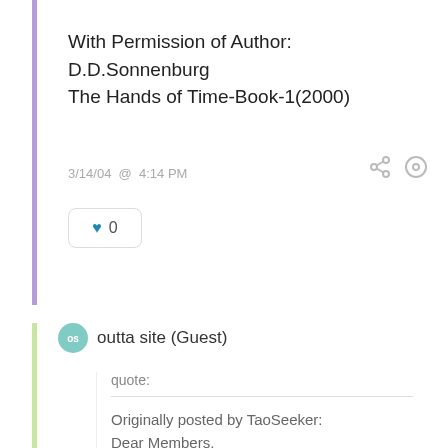With Permission of Author: D.D.Sonnenburg The Hands of Time-Book-1(2000)
3/14/04  @  4:14 PM
♥  0
outta site (Guest)
quote:

Originally posted by TaoSeeker:
Dear Members,

I so very much enjoyed the music on this